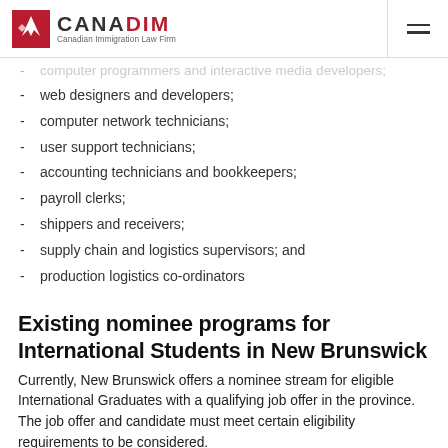CANADIM — Canadian Immigration Law Firm
computer programmers and interactive media developers;
web designers and developers;
computer network technicians;
user support technicians;
accounting technicians and bookkeepers;
payroll clerks;
shippers and receivers;
supply chain and logistics supervisors; and
production logistics co-ordinators
Existing nominee programs for International Students in New Brunswick
Currently, New Brunswick offers a nominee stream for eligible International Graduates with a qualifying job offer in the province. The job offer and candidate must meet certain eligibility requirements to be considered.